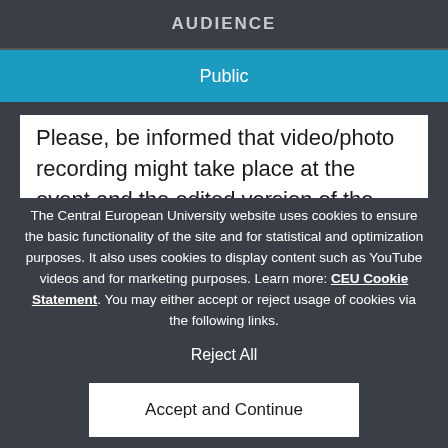AUDIENCE
Public
Please, be informed that video/photo recording might take place at the event and the edited version of the
The Central European University website uses cookies to ensure the basic functionality of the site and for statistical and optimization purposes. It also uses cookies to display content such as YouTube videos and for marketing purposes. Learn more: CEU Cookie Statement. You may either accept or reject usage of cookies via the following links.
Reject All
Accept and Continue